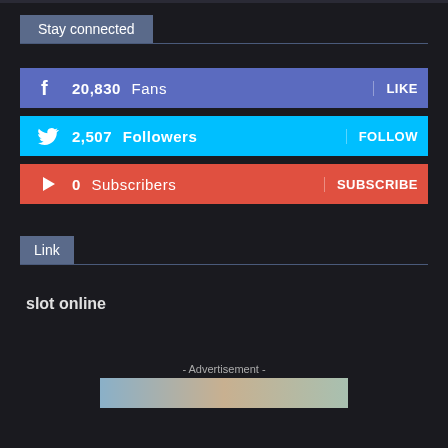Stay connected
[Figure (infographic): Facebook social bar: 20,830 Fans — LIKE button]
[Figure (infographic): Twitter social bar: 2,507 Followers — FOLLOW button]
[Figure (infographic): YouTube social bar: 0 Subscribers — SUBSCRIBE button]
Link
slot online
- Advertisement -